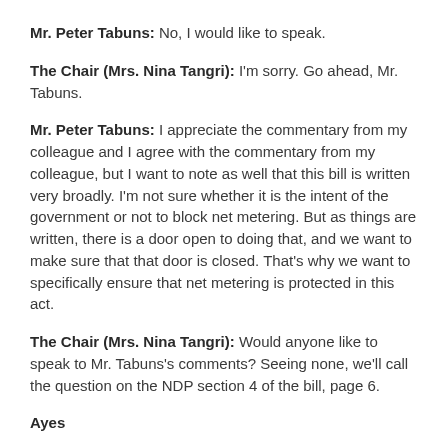Mr. Peter Tabuns: No, I would like to speak.
The Chair (Mrs. Nina Tangri): I'm sorry. Go ahead, Mr. Tabuns.
Mr. Peter Tabuns: I appreciate the commentary from my colleague and I agree with the commentary from my colleague, but I want to note as well that this bill is written very broadly. I'm not sure whether it is the intent of the government or not to block net metering. But as things are written, there is a door open to doing that, and we want to make sure that that door is closed. That's why we want to specifically ensure that net metering is protected in this act.
The Chair (Mrs. Nina Tangri): Would anyone like to speak to Mr. Tabuns's comments? Seeing none, we'll call the question on the NDP section 4 of the bill, page 6.
Ayes